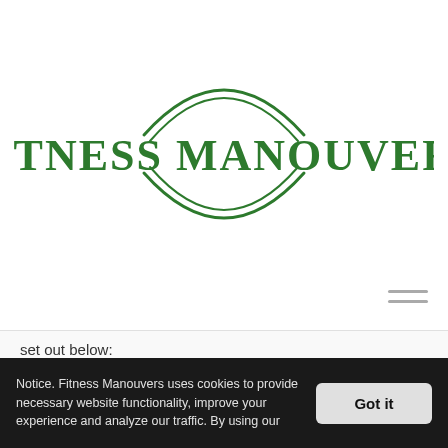[Figure (logo): Fitness Manouvers logo: circular arc design above and below the bold green serif text 'FITNESS MANOUVERS']
set out below:
Necessary / Essential Cookies
Notice. Fitness Manouvers uses cookies to provide necessary website functionality, improve your experience and analyze our traffic. By using our
Got it